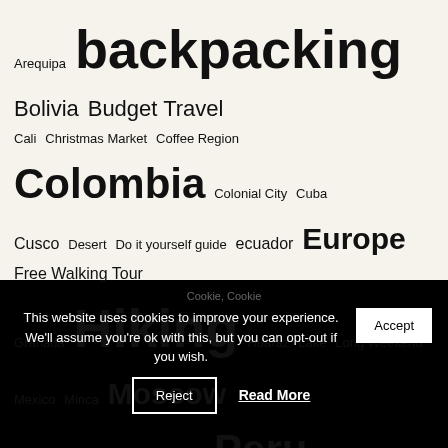Arequipa backpacking Bolivia Budget Travel Cali Christmas Market Coffee Region Colombia Colonial City Cuba Cusco Desert Do it yourself guide ecuador Europe Free Walking Tour Granada Hiking Huaraz Lake Long Weekend Mexico Minca Moscow Nicaragua Panama Peru Plaza de Armas Russia Saint Petersburg San Cipriano San Cristobal snorkeling Snow South America Spain Tayrona National Park Top things to do Travel Travel Blog Travel Guide Trekking Volcano Waterfall White City
Cookie, Cookie
This website uses cookies to improve your experience. We'll assume you're ok with this, but you can opt-out if you wish.
Accept
Reject
Read More